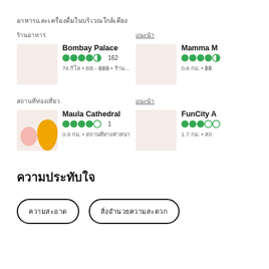อาหารและเครื่องดื่มในบริเวณใกล้เคียง
ร้านอาหาร
Bombay Palace · ★★★★½ 162 · 76 กม. • BB - ฿฿฿ • ร้านอาหาร...
แนะนำ
Mamma M... · ★★★★½ · 0.6 กม. • ฿฿...
สถานที่ท่องเที่ยว
Maula Cathedral · ★★★★☆ 1 · 0.9 กม. • สถานที่ทางศาสนา
แนะนำ
FunCity A... · ★★★☆☆ · 1.7 กม. • สถ...
ความประทับใจ
ความสะอาด
สิ่งอำนวยความสะดวก